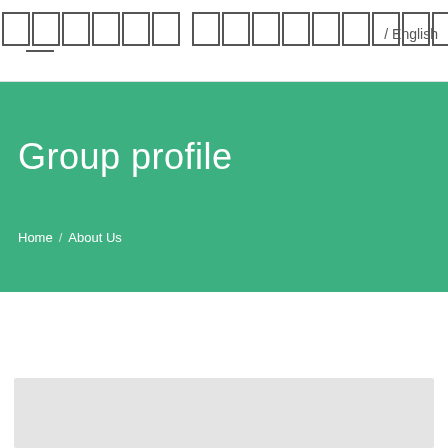□□□□□□_□□□□□□□□□
/ English
Group profile
Home  /  About Us